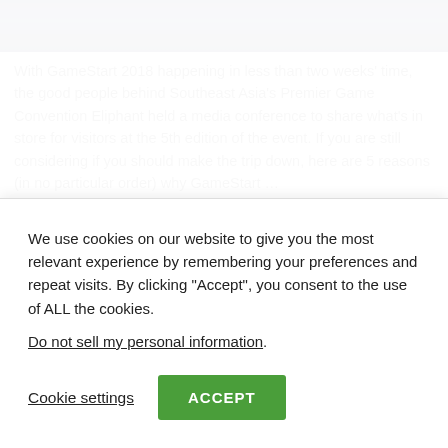[Figure (photo): Dark blue/navy banner image at the top of the page, appears to be a gaming event photo]
With GameStart 2018 happening in less than two weeks' time, the good people behind Southeast Asia's Premier Game Convention Eliphant held a media conference to share what's in store for visitors at the 5th edition of the event. If you are still considering if you should make the trip down, here are 5 reasons (in no particular order) why GameStart …
Read More »
FIND US ON FACEBOOK
We use cookies on our website to give you the most relevant experience by remembering your preferences and repeat visits. By clicking "Accept", you consent to the use of ALL the cookies.
Do not sell my personal information.
Cookie settings
ACCEPT